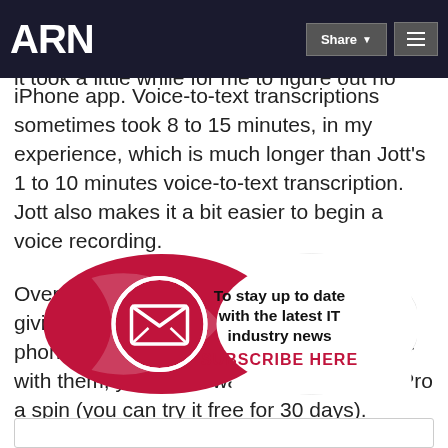ARN
Unfortunately, ReQall Pro offers so many features it took a little while for me to figure out how to use the iPhone app. Voice-to-text transcriptions sometimes took 8 to 15 minutes, in my experience, which is much longer than Jott's 1 to 10 minutes voice-to-text transcription. Jott also makes it a bit easier to begin a voice recording.
Overall, however, I'd recommend at least giving the free ReQall service and smart phone app a try. Once you become familiar with them, you might want to give ReQall Pro a spin (you can try it free for 30 days).
[Figure (infographic): Subscribe banner with envelope icon and text: To stay up to date with the latest IT industry news SUBSCRIBE HERE]